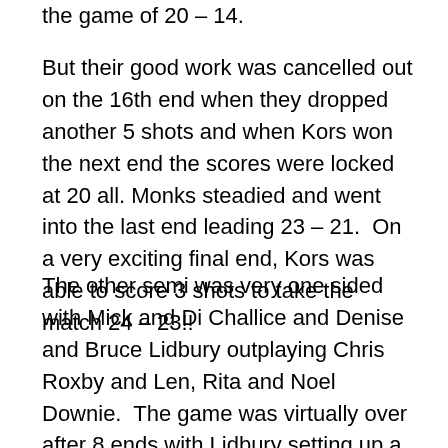the game of 20 – 14.
But their good work was cancelled out on the 16th end when they dropped another 5 shots and when Kors won the next end the scores were locked at 20 all. Monks steadied and went into the last end leading 23 – 21.  On a very exciting final end, Kors was able to score 3 shots to take the match 24 – 23!!
The other semi was very one sided with Mick and Di Challice and Denise and Bruce Lidbury outplaying Chris Roxby and Len, Rita and Noel Downie.  The game was virtually over after 8 ends with Lidbury setting up a 16 – 0 lead. As well as the Lidbury team played,